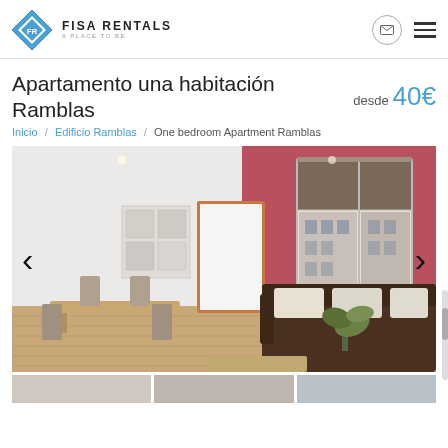FISA RENTALS — A PLACE TO BE
Apartamento una habitación Ramblas
desde 40€
Inicio / Edificio Ramblas / One bedroom Apartment Ramblas
[Figure (photo): Interior photo of a one-bedroom apartment at Ramblas, showing a living room with a dark brown leather sofa with cream cushions, a dining table with chairs, a plant, wooden floors, white walls with a red/burgundy accent wall, and a window with a brown roller blind overlooking a building facade.]
[Figure (photo): Thumbnail images at the bottom of the page showing additional views of the apartment.]